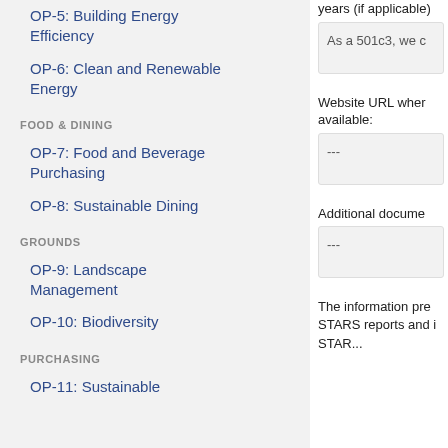OP-5: Building Energy Efficiency
OP-6: Clean and Renewable Energy
FOOD & DINING
OP-7: Food and Beverage Purchasing
OP-8: Sustainable Dining
GROUNDS
OP-9: Landscape Management
OP-10: Biodiversity
PURCHASING
OP-11: Sustainable
years (if applicable)
As a 501c3, we c
Website URL where available:
---
Additional docume
---
The information pre STARS reports and i STAR...